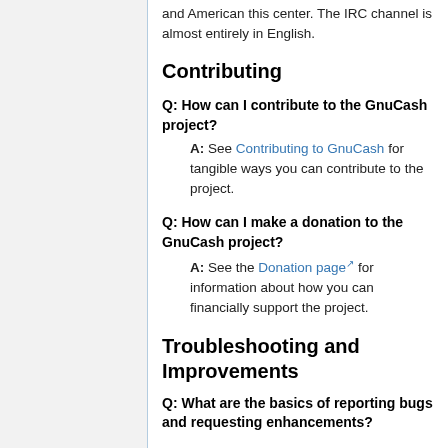and American this center. The IRC channel is almost entirely in English.
Contributing
Q: How can I contribute to the GnuCash project?
A: See Contributing to GnuCash for tangible ways you can contribute to the project.
Q: How can I make a donation to the GnuCash project?
A: See the Donation page for information about how you can financially support the project.
Troubleshooting and Improvements
Q: What are the basics of reporting bugs and requesting enhancements?